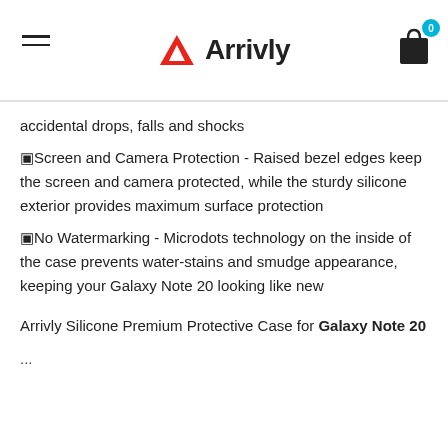Arrivly
accidental drops, falls and shocks
🔲Screen and Camera Protection - Raised bezel edges keep the screen and camera protected, while the sturdy silicone exterior provides maximum surface protection
🔲No Watermarking - Microdots technology on the inside of the case prevents water-stains and smudge appearance, keeping your Galaxy Note 20 looking like new
Arrivly Silicone Premium Protective Case for Galaxy Note 20
...